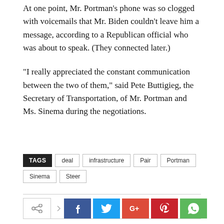At one point, Mr. Portman's phone was so clogged with voicemails that Mr. Biden couldn't leave him a message, according to a Republican official who was about to speak. (They connected later.)
“I really appreciated the constant communication between the two of them,” said Pete Buttigieg, the Secretary of Transportation, of Mr. Portman and Ms. Sinema during the negotiations.
TAGS: deal, infrastructure, Pair, Portman, Sinema, Steer